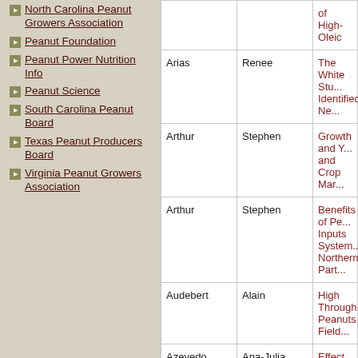North Carolina Peanut Growers Association
Peanut Foundation
Peanut Power Nutrition Info
Peanut Science
South Carolina Peanut Board
Texas Peanut Producers Board
Virginia Peanut Growers Association
| Last Name | First Name | Title |
| --- | --- | --- |
|  |  | of High-Oleic |
| Arias | Renee | The White Stu... Identified, Ne... |
| Arthur | Stephen | Growth and Y... and Crop Mar... |
| Arthur | Stephen | Benefits of Pe... Inputs System... Northern Part... |
| Audebert | Alain | High Through... Peanuts Field... |
| Azevedo | Ana-Julia | Effect of Diffe... Peanut in Rot... |
| Bag | Sudeep | Approaches to... Introduced by... |
| Balkcom | Kris | Evaluation of T... Rates for Run... |
| Ballen-Taborda | Carolina | Learning from... Incorporate N... |
| Balota | Maria | Vegetation Inc... |